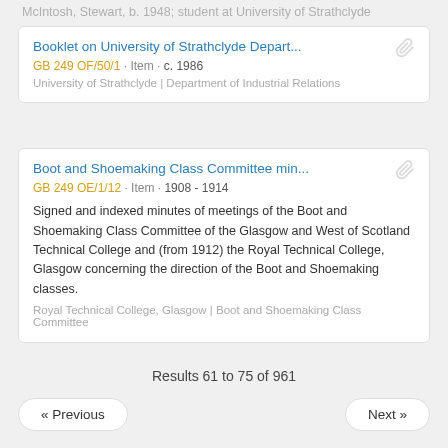McIntosh, Stewart, b. 1948; student at University of Strathclyde
Booklet on University of Strathclyde Depart...
GB 249 OF/50/1 · Item · c. 1986
University of Strathclyde | Department of Industrial Relations
Boot and Shoemaking Class Committee min...
GB 249 OE/1/12 · Item · 1908 - 1914
Signed and indexed minutes of meetings of the Boot and Shoemaking Class Committee of the Glasgow and West of Scotland Technical College and (from 1912) the Royal Technical College, Glasgow concerning the direction of the Boot and Shoemaking classes.
Royal Technical College, Glasgow | Boot and Shoemaking Class Committee
Results 61 to 75 of 961
« Previous
Next »